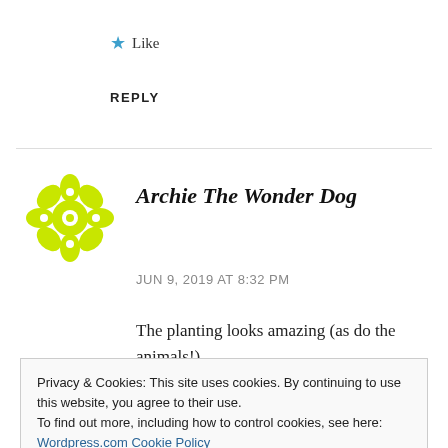★ Like
REPLY
[Figure (illustration): Yellow-green snowflake/flower avatar icon for user Archie The Wonder Dog]
Archie The Wonder Dog
JUN 9, 2019 AT 8:32 PM
The planting looks amazing (as do the animals!)
Privacy & Cookies: This site uses cookies. By continuing to use this website, you agree to their use.
To find out more, including how to control cookies, see here:
Wordpress.com Cookie Policy
Accept and Dismiss